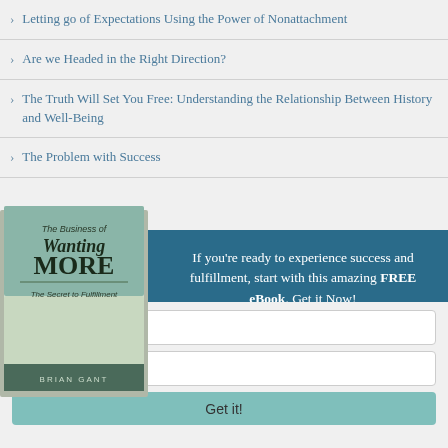Letting go of Expectations Using the Power of Nonattachment
Are we Headed in the Right Direction?
The Truth Will Set You Free: Understanding the Relationship Between History and Well-Being
The Problem with Success
[Figure (illustration): Book cover: 'The Business of Wanting More - The Secret to Fulfillment' by Brian Gant]
If you're ready to experience success and fulfillment, start with this amazing FREE eBook. Get it Now!